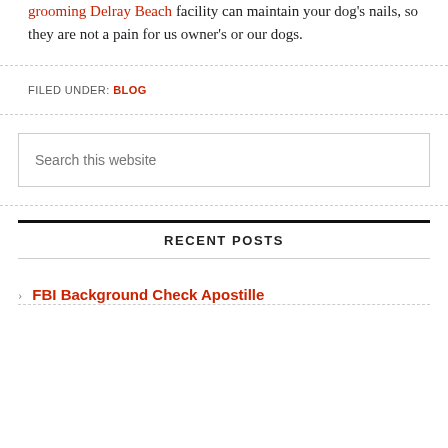grooming Delray Beach facility can maintain your dog's nails, so they are not a pain for us owner's or our dogs.
FILED UNDER: BLOG
Search this website
RECENT POSTS
FBI Background Check Apostille